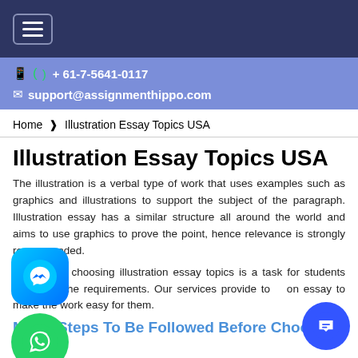≡ (hamburger menu)
+ 61-7-5641-0117
support@assignmenthippo.com
Home › Illustration Essay Topics USA
Illustration Essay Topics USA
The illustration is a verbal type of work that uses examples such as graphics and illustrations to support the subject of the paragraph. Illustration essay has a similar structure all around the world and aims to use graphics to prove the point, hence relevance is strongly recommended.
Sometimes choosing illustration essay topics is a task for students to fulfil the requirements. Our services provide to on essay to make the work easy for them.
Major Steps To Be Followed Before Choosing